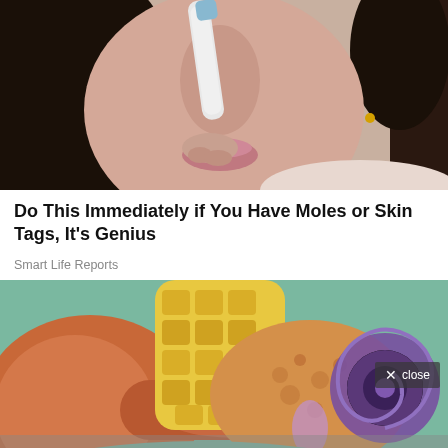[Figure (photo): Close-up photo of a woman with dark hair holding a white strip or tool near her nose, against a light background]
Do This Immediately if You Have Moles or Skin Tags, It's Genius
Smart Life Reports
[Figure (illustration): Medical illustration of a cross-section of the human ear showing outer ear canal, middle ear structures, and inner ear (cochlea), with an overlay close button in the bottom right area]